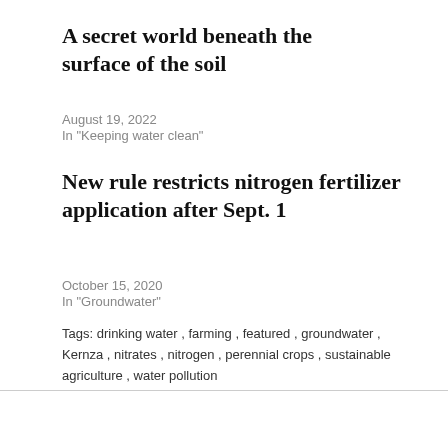A secret world beneath the surface of the soil
August 19, 2022
In "Keeping water clean"
New rule restricts nitrogen fertilizer application after Sept. 1
October 15, 2020
In "Groundwater"
Tags: drinking water , farming , featured , groundwater , Kernza , nitrates , nitrogen , perennial crops , sustainable agriculture , water pollution